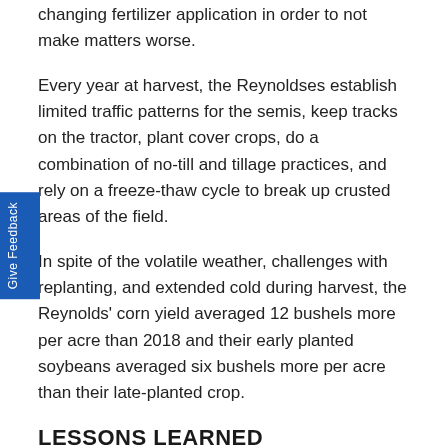changing fertilizer application in order to not make matters worse.
Every year at harvest, the Reynoldses establish limited traffic patterns for the semis, keep tracks on the tractor, plant cover crops, do a combination of no-till and tillage practices, and rely on a freeze-thaw cycle to break up crusted areas of the field.
In spite of the volatile weather, challenges with replanting, and extended cold during harvest, the Reynolds' corn yield averaged 12 bushels more per acre than 2018 and their early planted soybeans averaged six bushels more per acre than their late-planted crop.
LESSONS LEARNED